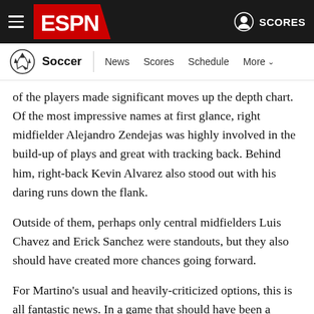ESPN — Soccer | News | Scores | Schedule | More
of the players made significant moves up the depth chart. Of the most impressive names at first glance, right midfielder Alejandro Zendejas was highly involved in the build-up of plays and great with tracking back. Behind him, right-back Kevin Alvarez also stood out with his daring runs down the flank.
Outside of them, perhaps only central midfielders Luis Chavez and Erick Sanchez were standouts, but they also should have created more chances going forward.
For Martino's usual and heavily-criticized options, this is all fantastic news. In a game that should have been a straightforward win against a CONCACAF minnow, several of Mexico's starters failed to impress.